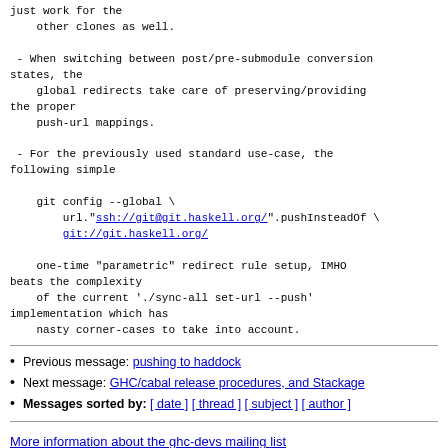just work for the
    other clones as well.

 - When switching between post/pre-submodule conversion states, the
    global redirects take care of preserving/providing the proper
    push-url mappings.

 - For the previously used standard use-case, the following simple

    git config --global \
        url."ssh://git@git.haskell.org/".pushInsteadOf \
        git://git.haskell.org/

    one-time "parametric" redirect rule setup, IMHO beats the complexity
    of the current './sync-all set-url --push' implementation which has
    nasty corner-cases to take into account.
Previous message: pushing to haddock
Next message: GHC/cabal release procedures, and Stackage
Messages sorted by: [ date ] [ thread ] [ subject ] [ author ]
More information about the ghc-devs mailing list